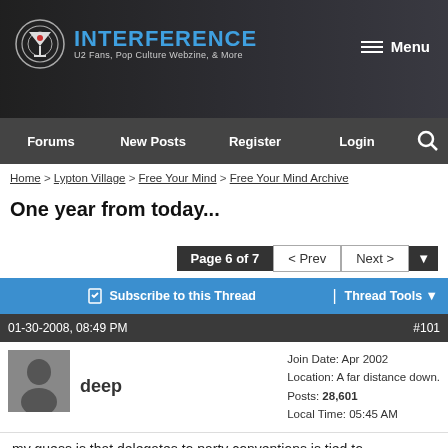[Figure (screenshot): Interference website logo with martini glass icon, site title INTERFERENCE in blue, subtitle U2 Fans, Pop Culture Webzine, & More, on dark background with menu button]
Forums  New Posts  Register  Login
Home > Lypton Village > Free Your Mind > Free Your Mind Archive
One year from today...
Page 6 of 7   < Prev   Next >
Subscribe to this Thread   Thread Tools
01-30-2008, 08:49 PM   #101
deep
Join Date: Apr 2002
Location: A far distance down.
Posts: 28,601
Local Time: 05:45 AM
my guess is that delegates to party conventions is tied to